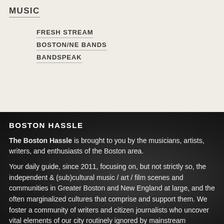MUSIC
FRESH STREAM
BOSTON/NE BANDS
BANDSPEAK
BOSTON HASSLE
The Boston Hassle is brought to you by the musicians, artists, writers, and enthusiasts of the Boston area.
Your daily guide, since 2011, focusing on, but not strictly so, the independent & (sub)cultural music / art / film scenes and communities in Greater Boston and New England at large, and the often marginalized cultures that comprise and support them. We foster a community of writers and citizen journalists who uncover vital elements of our city routinely ignored by mainstream